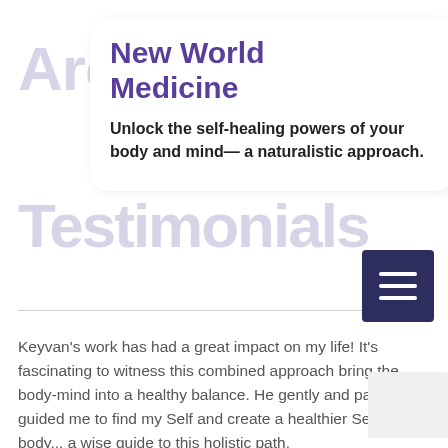New World Medicine
Unlock the self-healing powers of your body and mind— a naturalistic approach.
Keyvan's work has had a great impact on my life! It's fascinating to witness this combined approach bring the body-mind into a healthy balance. He gently and patiently guided me to find my Self and create a healthier Self and body... a wise guide to this holistic path.